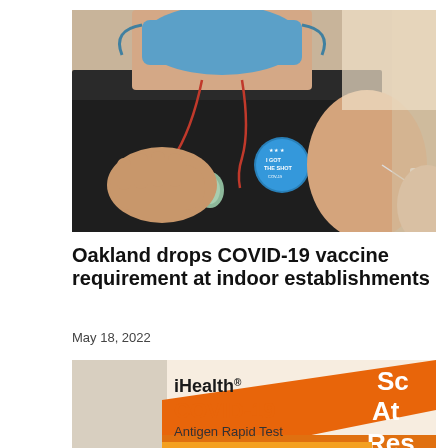[Figure (photo): Person wearing a black t-shirt and blue face mask with a blue 'I Got The Shot' sticker on their chest, receiving a vaccine injection in their arm from a healthcare worker]
Oakland drops COVID-19 vaccine requirement at indoor establishments
May 18, 2022
[Figure (photo): iHealth COVID-19 Antigen Rapid Test box packaging in orange and white, with partial text 'Sa At Res' visible on the right side]